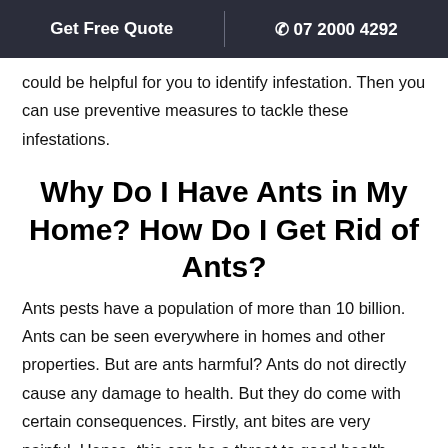Get Free Quote  |  07 2000 4292
could be helpful for you to identify infestation. Then you can use preventive measures to tackle these infestations.
Why Do I Have Ants in My Home? How Do I Get Rid of Ants?
Ants pests have a population of more than 10 billion. Ants can be seen everywhere in homes and other properties. But are ants harmful? Ants do not directly cause any damage to health. But they do come with certain consequences. Firstly, ant bites are very painful. Hence, this can be a threat to good health. Secondly, they